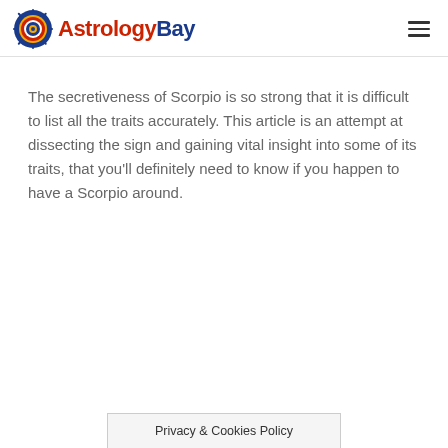AstrologyBay
The secretiveness of Scorpio is so strong that it is difficult to list all the traits accurately. This article is an attempt at dissecting the sign and gaining vital insight into some of its traits, that you'll definitely need to know if you happen to have a Scorpio around.
Privacy & Cookies Policy